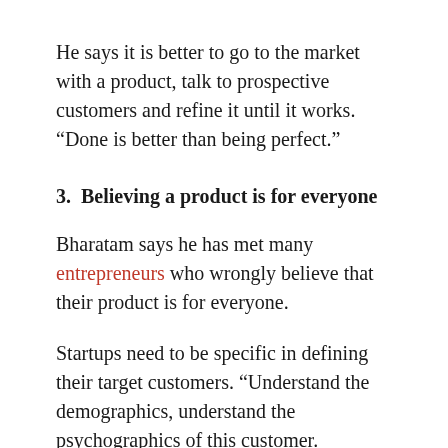He says it is better to go to the market with a product, talk to prospective customers and refine it until it works. “Done is better than being perfect.”
3. Believing a product is for everyone
Bharatam says he has met many entrepreneurs who wrongly believe that their product is for everyone.
Startups need to be specific in defining their target customers. “Understand the demographics, understand the psychographics of this customer. Understand how they think,